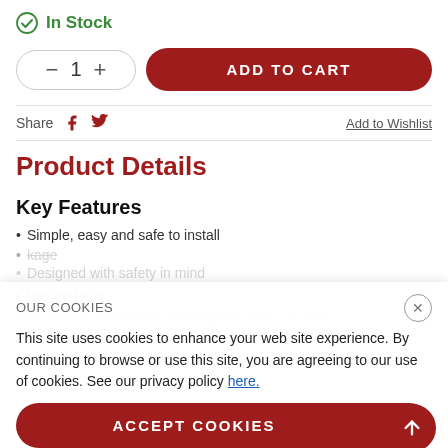In Stock
[Figure (other): Add to cart UI with quantity selector and red ADD TO CART button]
Share  Add to Wishlist
Product Details
Key Features
Simple, easy and safe to install
OUR COOKIES
This site uses cookies to enhance your web site experience. By continuing to browse or use this site, you are agreeing to our use of cookies. See our privacy policy here.
ACCEPT COOKIES